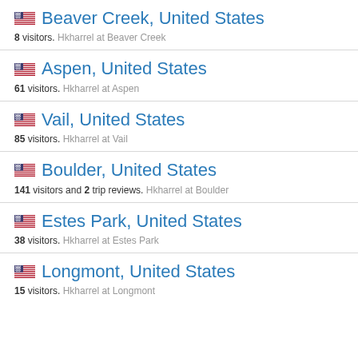Beaver Creek, United States — 8 visitors. Hkharrel at Beaver Creek
Aspen, United States — 61 visitors. Hkharrel at Aspen
Vail, United States — 85 visitors. Hkharrel at Vail
Boulder, United States — 141 visitors and 2 trip reviews. Hkharrel at Boulder
Estes Park, United States — 38 visitors. Hkharrel at Estes Park
Longmont, United States — 15 visitors. Hkharrel at Longmont